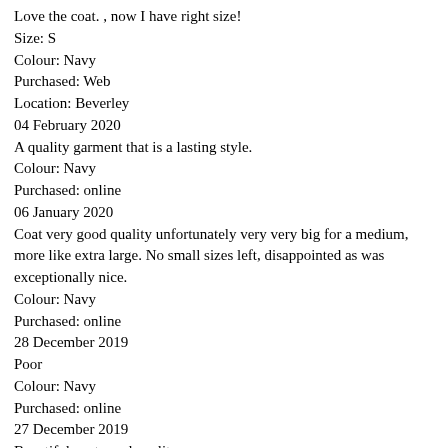Love the coat. , now I have right size!
Size: S
Colour: Navy
Purchased: Web
Location: Beverley
04 February 2020
A quality garment that is a lasting style.
Colour: Navy
Purchased: online
06 January 2020
Coat very good quality unfortunately very very big for a medium, more like extra large. No small sizes left, disappointed as was exceptionally nice.
Colour: Navy
Purchased: online
28 December 2019
Poor
Colour: Navy
Purchased: online
27 December 2019
Beautiful coat good quality
Colour: Navy
Purchased: online
27 December 2019
Love the coat, it fits v big so size down.